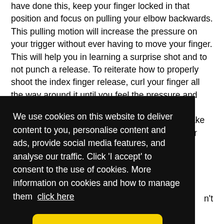have done this, keep your finger locked in that position and focus on pulling your elbow backwards. This pulling motion will increase the pressure on your trigger without ever having to move your finger. This will help you in learning a surprise shot and to not punch a release. To reiterate how to properly shoot the index finger release, curl your finger all the way around it until you feel the pressure and then keep it in that position while you pull backwards with your elbow. You will need to make sure your trigger pressure setting is a little stiffer initially so
We use cookies on this website to deliver content to you, personalise content and ads, provide social media features, and analyse our traffic. Click 'I accept' to consent to the use of cookies. More information on cookies and how to manage them click here
n't